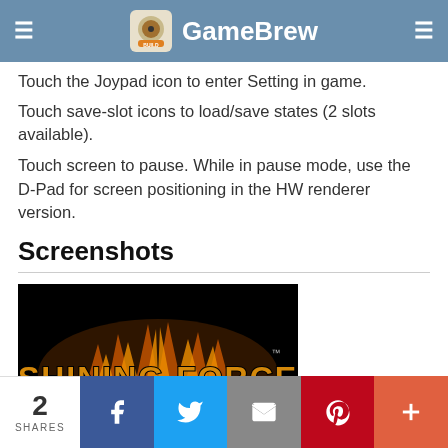GameBrew
Touch the Joypad icon to enter Setting in game.
Touch save-slot icons to load/save states (2 slots available).
Touch screen to pause. While in pause mode, use the D-Pad for screen positioning in the HW renderer version.
Screenshots
[Figure (screenshot): Screenshot of Shining Force: The Legacy of Great Intention title screen on black background with golden stylized text logo and 'PRESS START BUTTON' prompt. Copyright 1993 SEGA visible at bottom.]
2 SHARES | Facebook | Twitter | Email | Pinterest | More